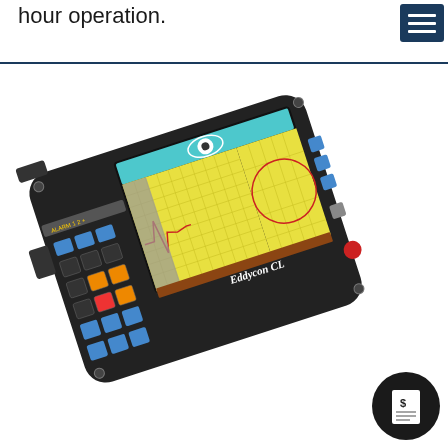hour operation.
[Figure (photo): Eddycon CL eddy current testing device - a rugged black handheld instrument with a color touchscreen display showing waveform and impedance plane data, multiple function buttons, and the label 'Eddycon CL' on the front panel.]
[Figure (other): Dark circular badge/button icon with a dollar sign and document lines, indicating a price or quote request button.]